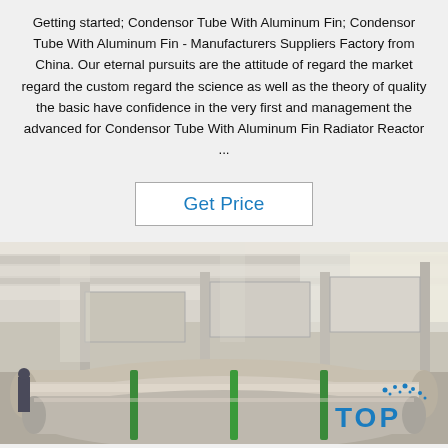Getting started; Condensor Tube With Aluminum Fin; Condensor Tube With Aluminum Fin - Manufacturers Suppliers Factory from China. Our eternal pursuits are the attitude of regard the market regard the custom regard the science as well as the theory of quality the basic have confidence in the very first and management the advanced for Condensor Tube With Aluminum Fin Radiator Reactor ...
Get Price
[Figure (photo): Factory interior showing large aluminum rolls/tubes bundled together with green strapping on the floor of an industrial warehouse with high ceiling and steel structure. A TOP logo watermark appears in the bottom right.]